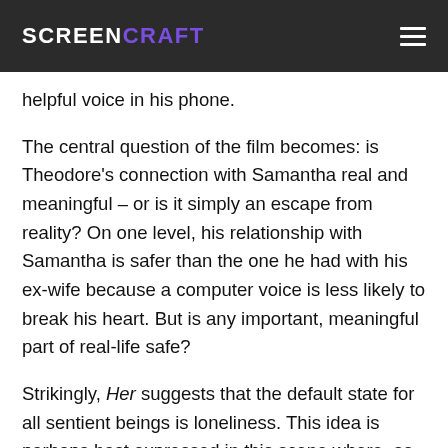SCREENCRAFT
helpful voice in his phone.
The central question of the film becomes: is Theodore's connection with Samantha real and meaningful – or is it simply an escape from reality? On one level, his relationship with Samantha is safer than the one he had with his ex-wife because a computer voice is less likely to break his heart. But is any important, meaningful part of real-life safe?
Strikingly, Her suggests that the default state for all sentient beings is loneliness. This idea is perhaps best expressed in this scene where, as hard as Samantha tries, she is unable to alleviate Theo's